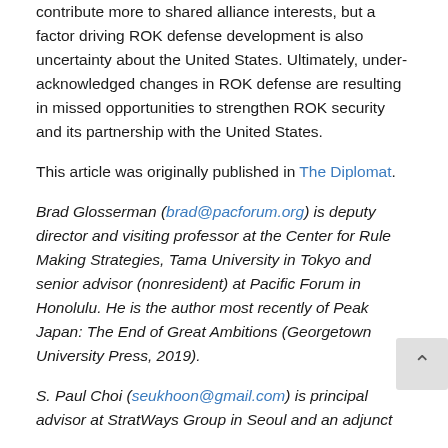contribute more to shared alliance interests, but a factor driving ROK defense development is also uncertainty about the United States. Ultimately, under-acknowledged changes in ROK defense are resulting in missed opportunities to strengthen ROK security and its partnership with the United States.
This article was originally published in The Diplomat.
Brad Glosserman (brad@pacforum.org) is deputy director and visiting professor at the Center for Rule Making Strategies, Tama University in Tokyo and senior advisor (nonresident) at Pacific Forum in Honolulu. He is the author most recently of Peak Japan: The End of Great Ambitions (Georgetown University Press, 2019).
S. Paul Choi (seukhoon@gmail.com) is principal advisor at StratWays Group in Seoul and an adjunct